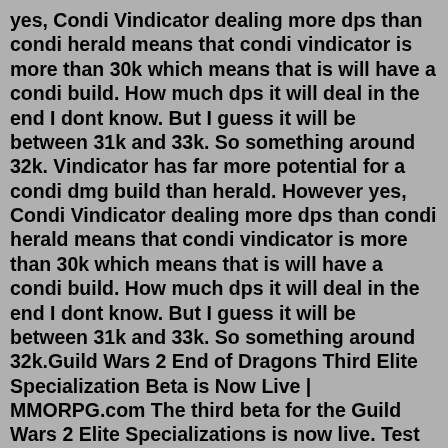yes, Condi Vindicator dealing more dps than condi herald means that condi vindicator is more than 30k which means that is will have a condi build. How much dps it will deal in the end I dont know. But I guess it will be between 31k and 33k. So something around 32k. Vindicator has far more potential for a condi dmg build than herald. However yes, Condi Vindicator dealing more dps than condi herald means that condi vindicator is more than 30k which means that is will have a condi build. How much dps it will deal in the end I dont know. But I guess it will be between 31k and 33k. So something around 32k.Guild Wars 2 End of Dragons Third Elite Specialization Beta is Now Live | MMORPG.com The third beta for the Guild Wars 2 Elite Specializations is now live. Test out the Specter, Untamed, or Mechanist this week.Since 2012 we are providing the Guild Wars 2 community with our website and our build editor, and we hope that you are satisfied with the quality of our resource. Unfortunately "there ain't no such thing as a free lunch" - it takes a lot of time and cash to keep